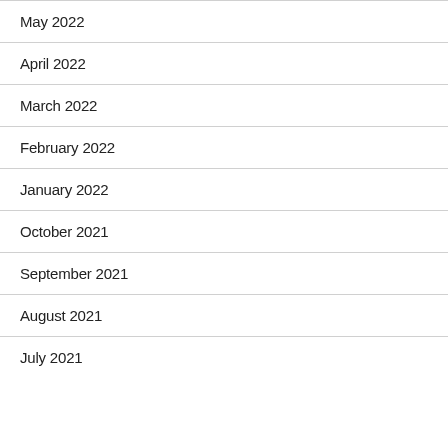May 2022
April 2022
March 2022
February 2022
January 2022
October 2021
September 2021
August 2021
July 2021